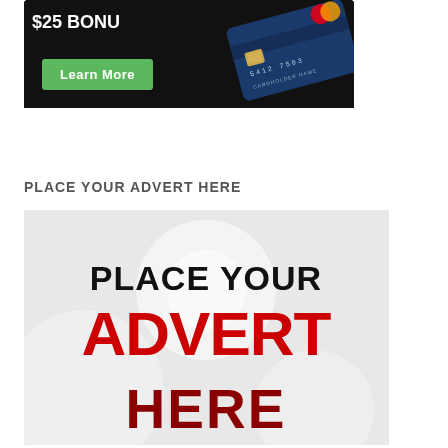[Figure (illustration): Credit card advertisement banner with black background, green 'Learn More' button, and a blue MasterCard credit card image]
PLACE YOUR ADVERT HERE
[Figure (infographic): Placeholder advertisement image with light grey background showing circular bokeh effects, text 'PLACE YOUR' in black, 'ADVERT' in large red bold letters, and 'HERE' in large dark red bold letters]